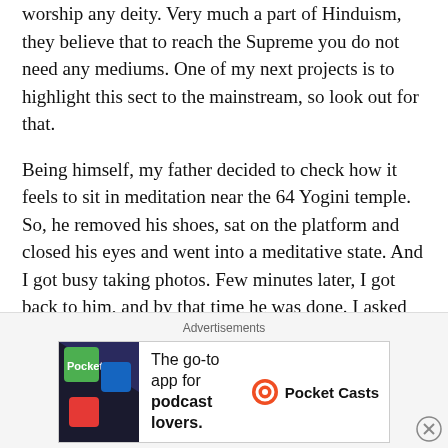worship any deity. Very much a part of Hinduism, they believe that to reach the Supreme you do not need any mediums. One of my next projects is to highlight this sect to the mainstream, so look out for that.
Being himself, my father decided to check how it feels to sit in meditation near the 64 Yogini temple. So, he removed his shoes, sat on the platform and closed his eyes and went into a meditative state. And I got busy taking photos. Few minutes later, I got back to him, and by that time he was done. I asked him how was it, and he told me that he could feel some kind of energy. After that we decided to visit the nearby Indralath temple nearby, and it was all fine till then.
Advertisements
[Figure (other): Advertisement banner for Pocket Casts app. Shows colorful logo on left, text 'The go-to app for podcast lovers.' in center, and Pocket Casts logo on right.]